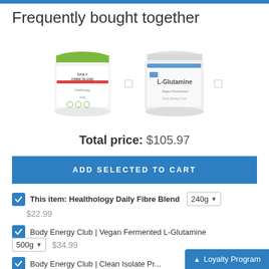Frequently bought together
[Figure (photo): Two product images: Healthology Daily Fibre Blend jar (green lid) and L-Glutamine white jar with plus sign between them and right arrow]
Total price: $105.97
ADD SELECTED TO CART
This item: Healthology Daily Fibre Blend  240g  $22.99
Body Energy Club | Vegan Fermented L-Glutamine  500g  $34.99
Body Energy Club | Clean Isolate Pr...
Loyalty Program